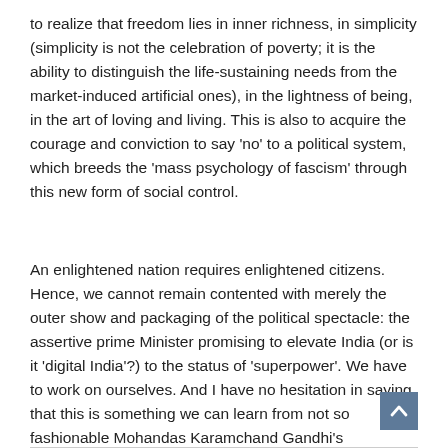to realize that freedom lies in inner richness, in simplicity (simplicity is not the celebration of poverty; it is the ability to distinguish the life-sustaining needs from the market-induced artificial ones), in the lightness of being, in the art of loving and living. This is also to acquire the courage and conviction to say 'no' to a political system, which breeds the 'mass psychology of fascism' through this new form of social control.
An enlightened nation requires enlightened citizens. Hence, we cannot remain contented with merely the outer show and packaging of the political spectacle: the assertive prime Minister promising to elevate India (or is it 'digital India'?) to the status of 'superpower'. We have to work on ourselves. And I have no hesitation in saying that this is something we can learn from not so fashionable Mohandas Karamchand Gandhi's 'experiments with truth'.